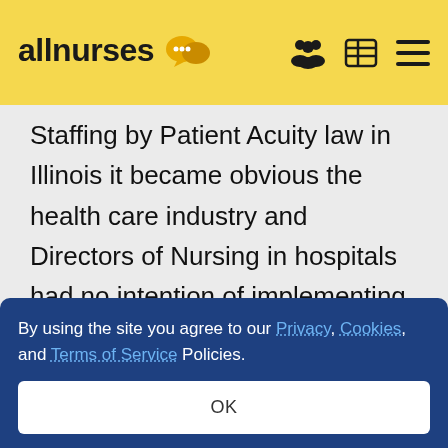allnurses
Staffing by Patient Acuity law in Illinois it became obvious the health care industry and Directors of Nursing in hospitals had no intention of implementing Nurse Staffing Committee recommendations. Without any recourse to enforce Staffing Committee recommendations it became an illusion of
By using the site you agree to our Privacy, Cookies, and Terms of Service Policies.
OK